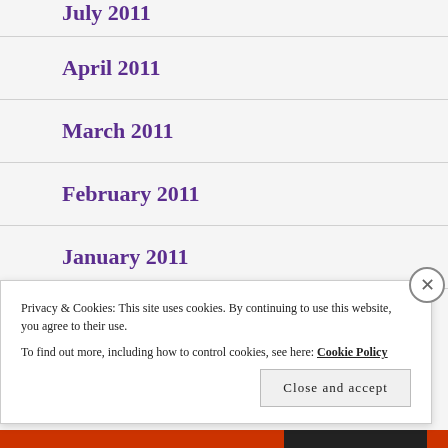July 2011
April 2011
March 2011
February 2011
January 2011
Privacy & Cookies: This site uses cookies. By continuing to use this website, you agree to their use.
To find out more, including how to control cookies, see here: Cookie Policy
Close and accept